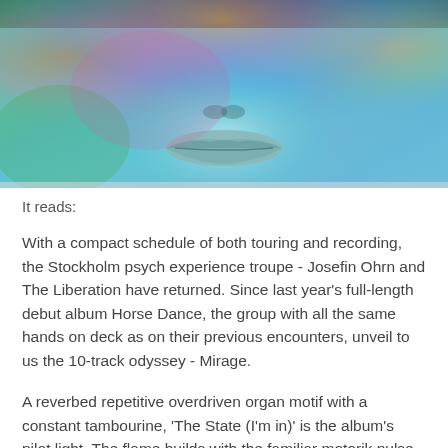[Figure (photo): Close-up photograph of a person's lips and lower face with rainbow-colored light and blue/teal hues painted or projected across the skin. Psychedelic, colorful image used as an album art related photo.]
It reads:
With a compact schedule of both touring and recording, the Stockholm psych experience troupe - Josefin Ohrn and The Liberation have returned. Since last year's full-length debut album Horse Dance, the group with all the same hands on deck as on their previous encounters, unveil to us the 10-track odyssey - Mirage.
A reverbed repetitive overdriven organ motif with a constant tambourine, 'The State (I'm in)' is the album's pilot light. The flame builds with the familiar motorik pulse from the drums, a steady pulsating bassline throughout, added later is an encircling tampura synth. Whilst seething guitar lines reach out around the other instruments, driving forward, Josefin's